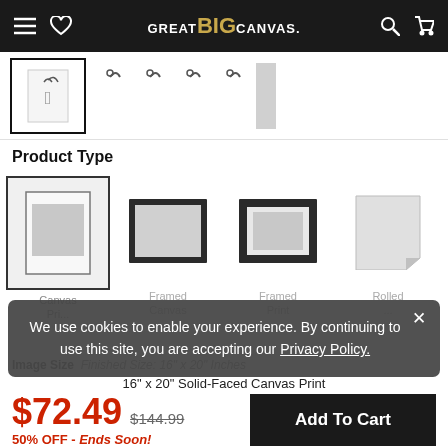GREAT BIG CANVAS.
[Figure (screenshot): Size selector thumbnails row showing framed canvas size options with hanger icons]
Product Type
[Figure (screenshot): Product type selector showing Canvas Print, Framed Canvas, Framed Print, and Rolled options as icon thumbnails]
[Figure (screenshot): Cookie consent banner overlay: 'We use cookies to enable your experience. By continuing to use this site, you are accepting our Privacy Policy.']
Image Size   Finished Size: 16" x 20" Inches
16" x 20" Solid-Faced Canvas Print
$72.49  $144.99  50% OFF - Ends Soon!
Add To Cart